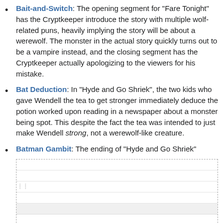Bait-and-Switch: The opening segment for "Fare Tonight" has the Cryptkeeper introduce the story with multiple wolf-related puns, heavily implying the story will be about a werewolf. The monster in the actual story quickly turns out to be a vampire instead, and the closing segment has the Cryptkeeper actually apologizing to the viewers for his mistake.
Bat Deduction: In "Hyde and Go Shriek", the two kids who gave Wendell the tea to get stronger immediately deduce the potion worked upon reading in a newspaper about a monster being spot. This despite the fact the tea was intended to just make Wendell strong, not a werewolf-like creature.
Batman Gambit: The ending of "Hyde and Go Shriek"